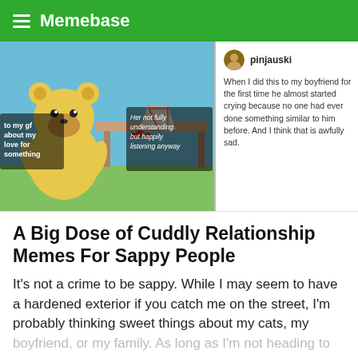Memebase
[Figure (screenshot): Meme image showing cartoon character talking to girlfriend with text overlays, and a social media comment from user pinjauski about boyfriend reaction]
A Big Dose of Cuddly Relationship Memes For Sappy People
It's not a crime to be sappy. While I may seem to have a hardened exterior if you catch me on the street, I'm probably thinking sweet things about my cats, my boyfriend, or my family. As long as I'm not heading to
[Figure (screenshot): View List button — green rounded rectangle with white text]
[Figure (screenshot): Bloomingdale's advertisement banner: View Today's Top Deals! SHOP NOW >]